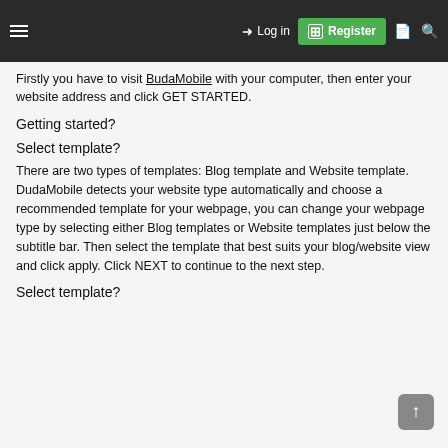Log in | Register
Firstly you have to visit BudaMobile with your computer, then enter your website address and click GET STARTED.
Getting started?
Select template?
There are two types of templates: Blog template and Website template. DudaMobile detects your website type automatically and choose a recommended template for your webpage, you can change your webpage type by selecting either Blog templates or Website templates just below the subtitle bar. Then select the template that best suits your blog/website view and click apply. Click NEXT to continue to the next step.
Select template?